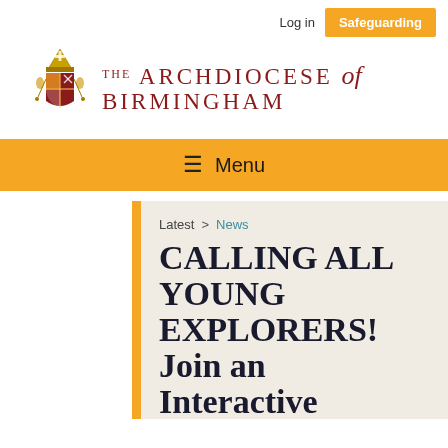Log in | Safeguarding
[Figure (logo): Archdiocese of Birmingham heraldic crest with bishop's mitre and crossed keys, red and yellow shield, with flanking figures]
THE ARCHDIOCESE of BIRMINGHAM
≡ Menu
Latest > News
CALLING ALL YOUNG EXPLORERS! JOIN AN INTERACTIVE SCAVENGER